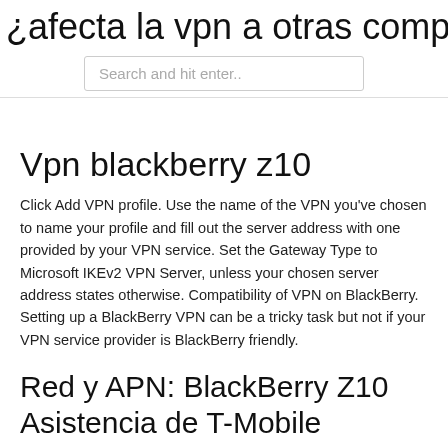¿afecta la vpn a otras computadoras
Search and hit enter..
Vpn blackberry z10
Click Add VPN profile. Use the name of the VPN you've chosen to name your profile and fill out the server address with one provided by your VPN service. Set the Gateway Type to Microsoft IKEv2 VPN Server, unless your chosen server address states otherwise. Compatibility of VPN on BlackBerry. Setting up a BlackBerry VPN can be a tricky task but not if your VPN service provider is BlackBerry friendly.
Red y APN: BlackBerry Z10 Asistencia de T-Mobile